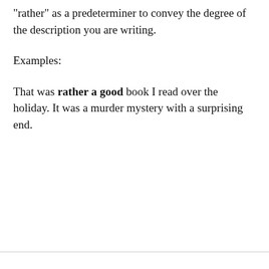“rather” as a predeterminer to convey the degree of the description you are writing.
Examples:
That was rather a good book I read over the holiday. It was a murder mystery with a surprising end.